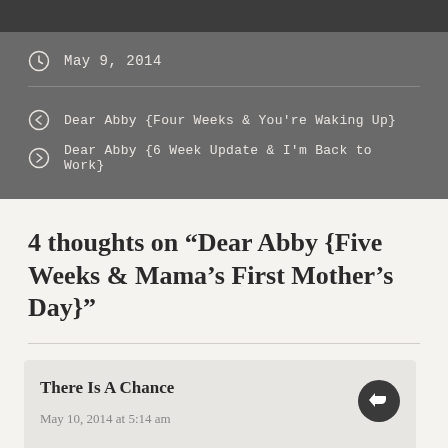May 9, 2014
Dear Abby {Four Weeks & You're Waking Up}
Dear Abby {6 Week Update & I'm Back to Work}
4 thoughts on “Dear Abby {Five Weeks & Mama’s First Mother’s Day}”
There Is A Chance
May 10, 2014 at 5:14 am